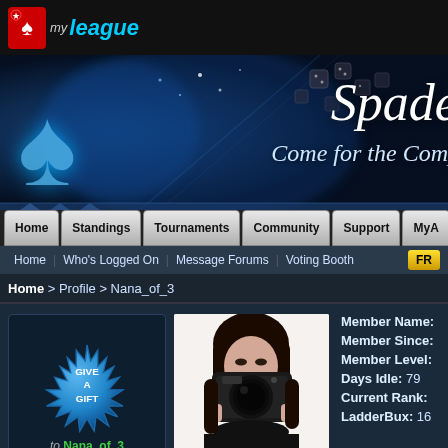my league
[Figure (illustration): Spades card game website banner with glowing spade symbol, dice, and text 'Spades - Come for the Comp...']
Home | Standings | Tournaments | Community | Support | MyA
Home | Who's Logged On | Message Forums | Voting Booth | FR
Home > Profile > Nana_of_3
[Figure (illustration): Give A Gift badge/seal - blue starburst badge with text 'Give A Gift' and 'to Nana_of_3']
[Figure (photo): Profile photo of a woman holding a camera obscuring the lower portion of her face, wearing black, with dark hair]
Member Name:
Member Since:
Member Level:
Days Idle: 79
Current Rank:
LadderBux: 16